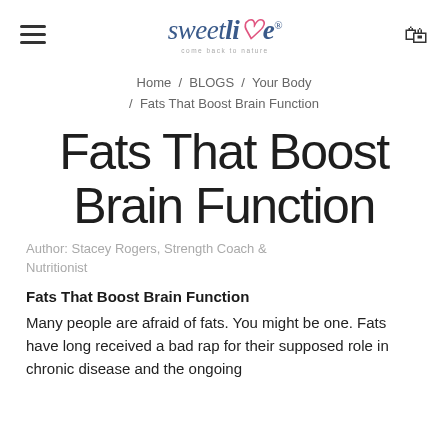sweetlife come back to nature
Home / BLOGS / Your Body / Fats That Boost Brain Function
Fats That Boost Brain Function
Author: Stacey Rogers, Strength Coach & Nutritionist
Fats That Boost Brain Function
Many people are afraid of fats. You might be one. Fats have long received a bad rap for their supposed role in chronic disease and the ongoing